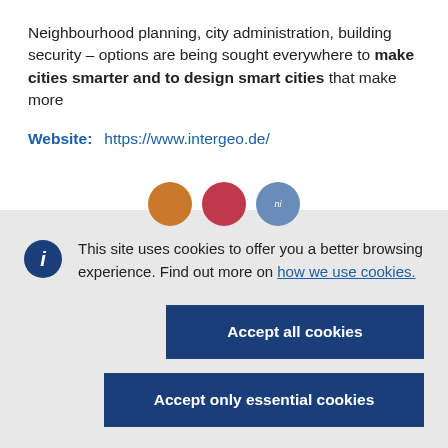Neighbourhood planning, city administration, building security – options are being sought everywhere to make cities smarter and to design smart cities that make more
Website:   https://www.intergeo.de/
[Figure (illustration): Three partially visible circular icon buttons in orange, pink/red, and blue]
This site uses cookies to offer you a better browsing experience. Find out more on how we use cookies.
Accept all cookies
Accept only essential cookies